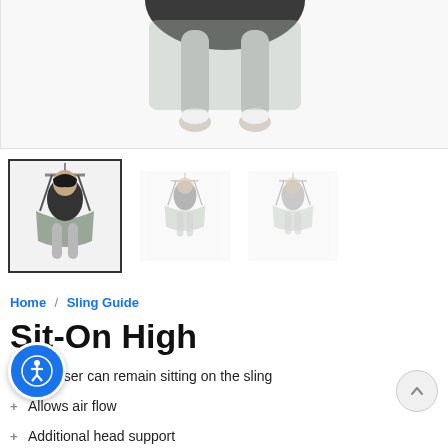[Figure (photo): Close-up photo of a person sitting in a hanging sling/swing device, showing legs and lower body in light gray leggings against white background]
[Figure (photo): Three thumbnail images of a person sitting in a hanging sling device: first thumbnail selected (with border), showing front view with person facing camera; second and third thumbnails faded, showing different angles]
Home / Sling Guide
Sit-On High
The user can remain sitting on the sling
Allows air flow
Additional head support